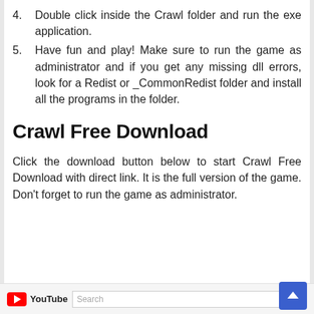4. Double click inside the Crawl folder and run the exe application.
5. Have fun and play! Make sure to run the game as administrator and if you get any missing dll errors, look for a Redist or _CommonRedist folder and install all the programs in the folder.
Crawl Free Download
Click the download button below to start Crawl Free Download with direct link. It is the full version of the game. Don't forget to run the game as administrator.